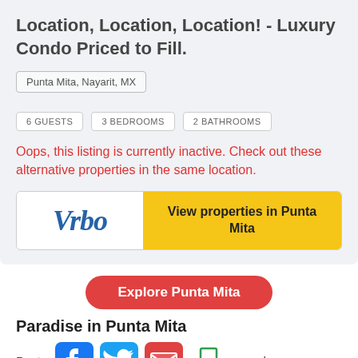Location, Location, Location! - Luxury Condo Priced to Fill.
Punta Mita, Nayarit, MX
6 GUESTS
3 BEDROOMS
2 BATHROOMS
Oops, this listing is currently inactive. Check out these alternative properties in the same location.
[Figure (logo): VRBO logo with 'View properties in Punta Mita' button]
Explore Punta Mita
Paradise in Punta Mita
Punta
[Figure (logo): Social media icons: Facebook, Twitter, email, bookmark]
e and